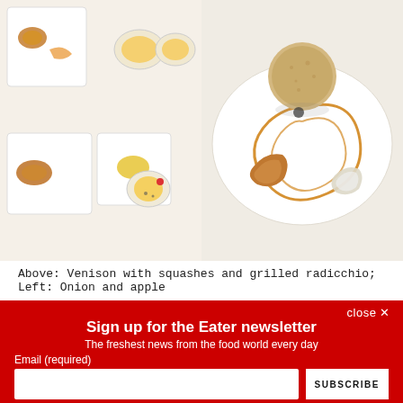[Figure (photo): Two food photos side by side: left shows white plates with small appetizer portions including fried items and small cups/bowls with yellow-orange contents; right shows a white plate with a round breaded/coated ball, a caramel sauce swirl, and other dessert components.]
Above: Venison with squashes and grilled radicchio; Left: Onion and apple
close ×
Sign up for the Eater newsletter
The freshest news from the food world every day
Email (required)
SUBSCRIBE
By submitting your email, you agree to our Terms and Privacy Notice. You can opt out at any time. This site is protected by reCAPTCHA and the Google Privacy Policy and Terms of Service apply.